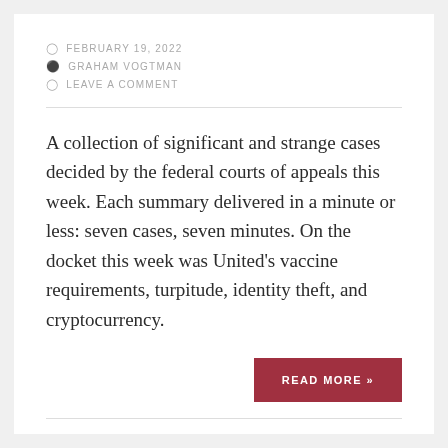FEBRUARY 19, 2022
GRAHAM VOGTMAN
LEAVE A COMMENT
A collection of significant and strange cases decided by the federal courts of appeals this week. Each summary delivered in a minute or less: seven cases, seven minutes. On the docket this week was United's vaccine requirements, turpitude, identity theft, and cryptocurrency.
READ MORE »